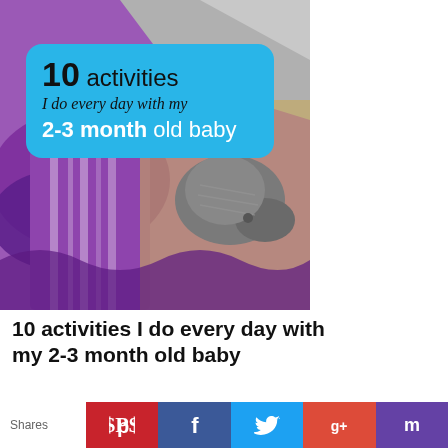[Figure (photo): Photo of baby items including purple fabric, a gray knitted bootie, and other textile items on a patterned surface. Overlaid with a blue rounded rectangle containing the text '10 activities I do every day with my 2-3 month old baby'.]
10 activities I do every day with my 2-3 month old baby
This is Anton's first post. He is not yet old enough to do the same kind